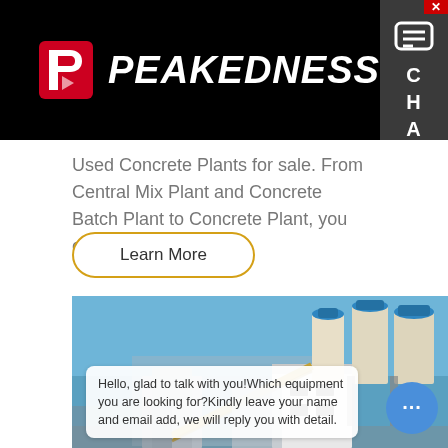[Figure (logo): Peakedness company logo with red arrow icon and white bold italic text on black background]
Used Concrete Plants for sale. From Central Mix Plant and Concrete Batch Plant to Concrete Plant, you can buy and se…
Learn More
[Figure (photo): Concrete batching plant with tall cylindrical silos with blue caps against a clear blue sky, with a white building structure in the foreground]
Hello, glad to talk with you!Which equipment you are looking for?Kindly leave your name and email add, we will reply you with detail.